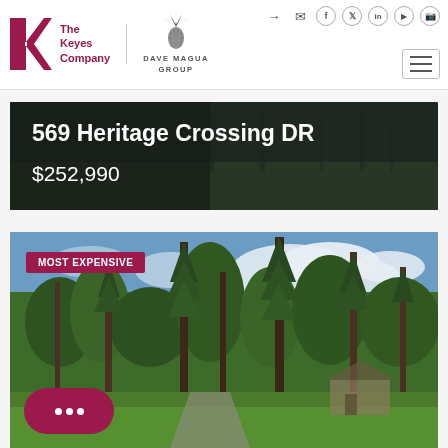[Figure (logo): The Keyes Company logo with red K graphic and Dave Magua Group pineapple logo]
569 Heritage Crossing DR
$252,990
[Figure (photo): Outdoor property photo with tall pine trees, grass lawn, blue sky with clouds, and a house visible in the background. Badge reads MOST EXPENSIVE.]